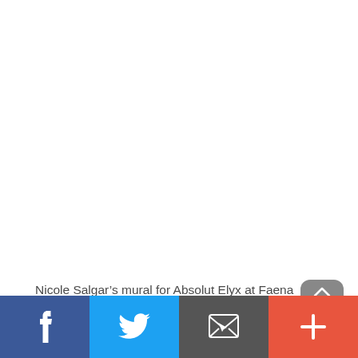[Figure (photo): Blank white area representing a mural photo (image not rendered)]
Nicole Salgar’s mural for Absolut Elyx at Faena Miami Beach, created during Miami Art Week 2019.
[Figure (infographic): Social sharing bar with Facebook (blue), Twitter (light blue), Email (dark gray), and More/Plus (orange-red) buttons, plus a partially visible scroll-up button]